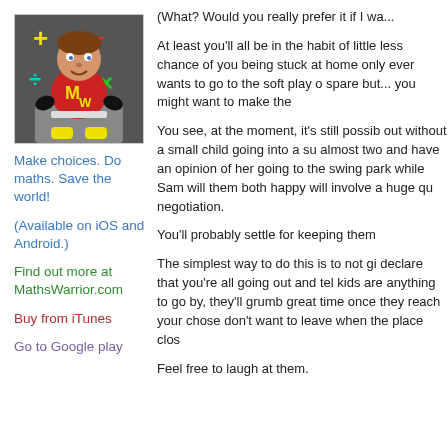[Figure (illustration): Maths Warrior app icon showing a cartoon character in a red superhero suit with 'MW' on the chest, surrounded by math symbols (+, -, ×, ÷) on a dark background]
Make choices. Do maths. Save the world!
(Available on iOS and Android.)
Find out more at MathsWarrior.com
Buy from iTunes
Go to Google play
(What? Would you really prefer it if I wa...
At least you'll all be in the habit of little... less chance of you being stuck at home... only ever wants to go to the soft play o... spare but... you might want to make the...
You see, at the moment, it's still possib... out without a small child going into a su... almost two and have an opinion of her... going to the swing park while Sam will... them both happy will involve a huge qu... negotiation.
You'll probably settle for keeping them...
The simplest way to do this is to not gi... declare that you're all going out and tel... kids are anything to go by, they'll grumb... great time once they reach your chose... don't want to leave when the place clos...
Feel free to laugh at them.